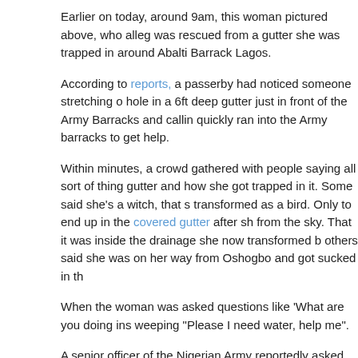Earlier on today, around 9am, this woman pictured above, who alleg was rescued from a gutter she was trapped in around Abalti Barrack Lagos.
According to reports, a passerby had noticed someone stretching o hole in a 6ft deep gutter just in front of the Army Barracks and callin quickly ran into the Army barracks to get help.
Within minutes, a crowd gathered with people saying all sort of thing gutter and how she got trapped in it. Some said she's a witch, that s transformed as a bird. Only to end up in the covered gutter after sh from the sky. That it was inside the drainage she now transformed b others said she was on her way from Oshogbo and got sucked in th
When the woman was asked questions like 'What are you doing ins weeping "Please I need water, help me".
A senior officer of the Nigerian Army reportedly asked the soldiers to the environment was called in and she was finally brought out by a gutter to help her out.